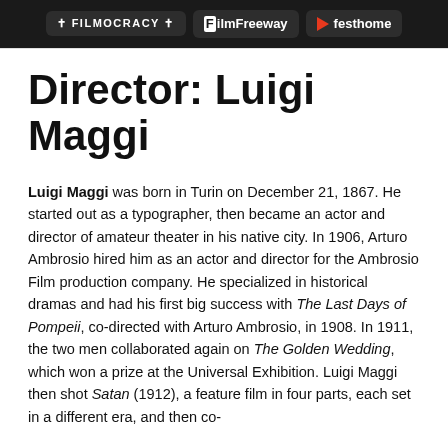FILMOCRACY | FilmFreeway | festhome
Director: Luigi Maggi
Luigi Maggi was born in Turin on December 21, 1867. He started out as a typographer, then became an actor and director of amateur theater in his native city. In 1906, Arturo Ambrosio hired him as an actor and director for the Ambrosio Film production company. He specialized in historical dramas and had his first big success with The Last Days of Pompeii, co-directed with Arturo Ambrosio, in 1908. In 1911, the two men collaborated again on The Golden Wedding, which won a prize at the Universal Exhibition. Luigi Maggi then shot Satan (1912), a feature film in four parts, each set in a different era, and then co-